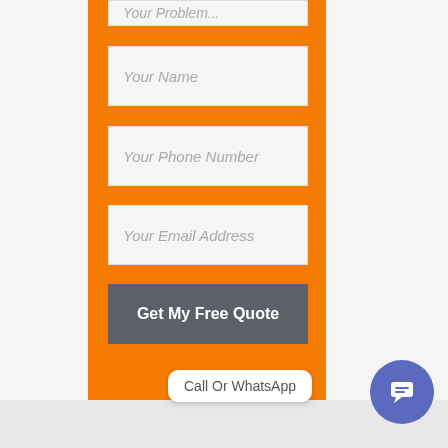[Figure (screenshot): A web form with orange background containing input fields for Your Name, Your Phone Number, Your Email Address, and a dark grey 'Get My Free Quote' button. A chat widget showing 'Call Or WhatsApp' is visible in the bottom right corner.]